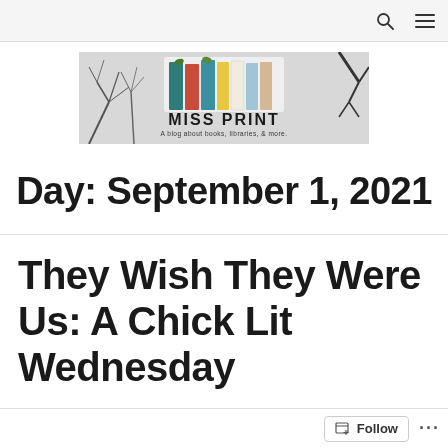Navigation bar with search and menu icons
[Figure (logo): Miss Print blog logo — colorful book spines against a black-and-white winter tree background, with text 'MISS PRINT' and tagline 'A blog about books, libraries, & more.']
Day: September 1, 2021
They Wish They Were Us: A Chick Lit Wednesday Review
Follow button and menu dots